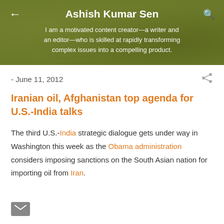Ashish Kumar Sen
I am a motivated content creator—a writer and an editor—who is skilled at rapidly transforming complex issues into a compelling product.
- June 11, 2012
Iranian oil, Afghanistan top agenda for U.S.-India talks
The third U.S.-India strategic dialogue gets under way in Washington this week as the Obama administration considers imposing sanctions on the South Asian nation for importing oil from Iran.